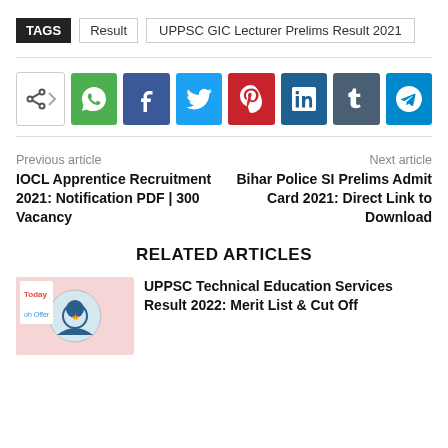TAGS   Result   UPPSC GIC Lecturer Prelims Result 2021
[Figure (infographic): Social share buttons row: share icon, WhatsApp (green), Facebook (dark blue), Twitter (light blue), Pinterest (red), LinkedIn (teal), Tumblr (slate), Telegram (blue)]
Previous article
Next article
IOCL Apprentice Recruitment 2021: Notification PDF | 300 Vacancy
Bihar Police SI Prelims Admit Card 2021: Direct Link to Download
RELATED ARTICLES
[Figure (photo): Thumbnail image for UPPSC Technical Education Services Result article, shows UPPSC logo on pink background with Today branding badge]
UPPSC Technical Education Services Result 2022: Merit List & Cut Off